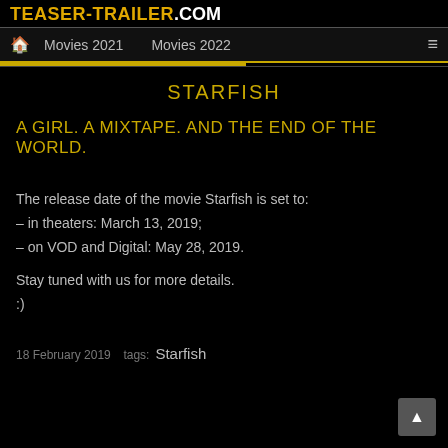TEASER-TRAILER.COM
🏠 Movies 2021   Movies 2022   ≡
STARFISH
A GIRL. A MIXTAPE. AND THE END OF THE WORLD.
The release date of the movie Starfish is set to:
– in theaters: March 13, 2019;
– on VOD and Digital: May 28, 2019.
Stay tuned with us for more details.
:)
18 February 2019  tags: Starfish